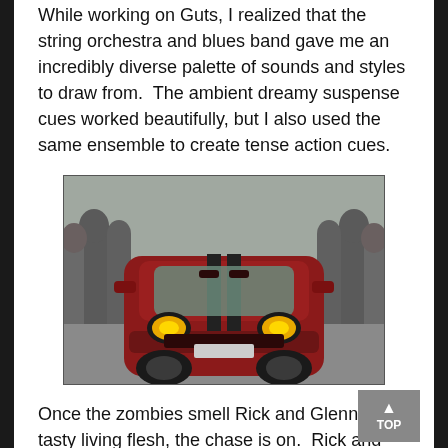While working on Guts, I realized that the string orchestra and blues band gave me an incredibly diverse palette of sounds and styles to draw from.  The ambient dreamy suspense cues worked beautifully, but I also used the same ensemble to create tense action cues.
[Figure (photo): Front-facing view of a dark red/maroon muscle car (Dodge Challenger) with dual black racing stripes on the hood and yellow headlights on, surrounded by a crowd of people in an urban outdoor setting.]
Once the zombies smell Rick and Glenn's tasty living flesh, the chase is on.  Rick and Glenn flee the mob and steal a truck and a car, as part of their plan to rescue everyone. As Glenn rounds the corner at 75 miles per hour, the string